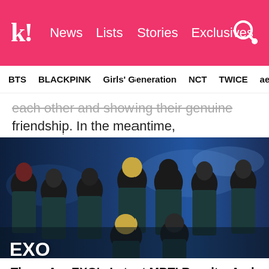k! News  Lists  Stories  Exclusives
BTS  BLACKPINK  Girls' Generation  NCT  TWICE  aespa
each other and showing their genuine friendship. In the meantime, congratulations to Sehun on his new film!
[Figure (photo): EXO group photo: members wearing dark teal/blue velvet suits performing on stage with blue lighting backdrop. Text overlay reads 'EXO' in white at bottom left.]
These Are EXO's Latest MBTI Results, And What They